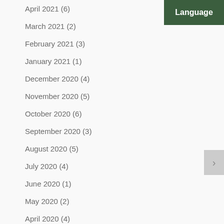April 2021 (6)
March 2021 (2)
February 2021 (3)
January 2021 (1)
December 2020 (4)
November 2020 (5)
October 2020 (6)
September 2020 (3)
August 2020 (5)
July 2020 (4)
June 2020 (1)
May 2020 (2)
April 2020 (4)
Language